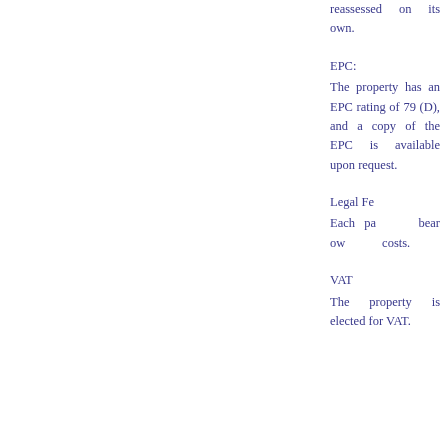reassessed on its own.
EPC:
The property has an EPC rating of 79 (D), and a copy of the EPC is available upon request.
Legal Fees
Each party to bear own legal costs.
VAT
The property is elected for VAT.